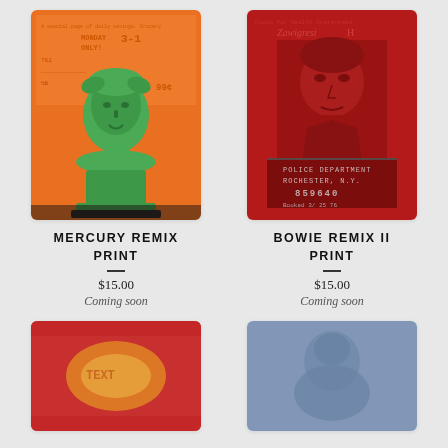[Figure (illustration): Mercury Remix print art — green classical statue bust on orange background with supermarket receipt/coupon collage text]
[Figure (illustration): Bowie Remix II print art — red-toned pop art mugshot of David Bowie with police department Rochester NY text overlay]
MERCURY REMIX PRINT
$15.00
Coming soon
BOWIE REMIX II PRINT
$15.00
Coming soon
[Figure (illustration): Partially visible print art — red/yellow tones, blurred, lower portion cropped]
[Figure (illustration): Partially visible print art — blue tones, blurred figure, lower portion cropped]